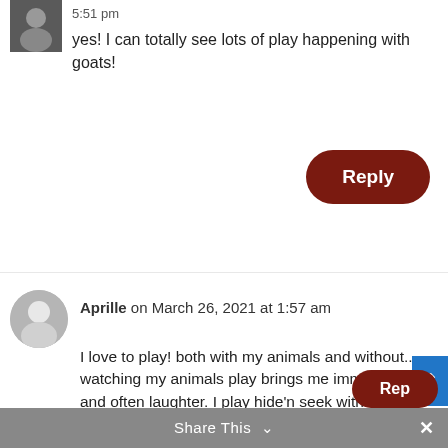5:51 pm
yes! I can totally see lots of play happening with goats!
Reply
Aprille on March 26, 2021 at 1:57 am
I love to play! both with my animals and without.... watching my animals play brings me immense joy and often laughter. I play hide'n seek with the puppies and they love it! I realize in adulthood that my affinity for play is what likely contributed the most to my resilience factor
The kitten in the story pic is SO adorable!
Share This ∨
×